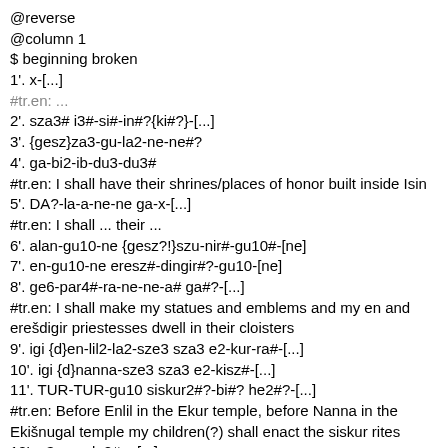@reverse
@column 1
$ beginning broken
1'. x-[...]
#tr.en: ...
2'. sza3# i3#-si#-in#?{ki#?}-[...]
3'. {gesz}za3-gu-la2-ne-ne#?
4'. ga-bi2-ib-du3-du3#
#tr.en: I shall have their shrines/places of honor built inside Isin
5'. DA?-la-a-ne-ne ga-x-[...]
#tr.en: I shall ... their ...
6'. alan-gu10-ne {gesz?!}szu-nir#-gu10#-[ne]
7'. en-gu10-ne eresz#-dingir#?-gu10-[ne]
8'. ge6-par4#-ra-ne-ne-a# ga#?-[...]
#tr.en: I shall make my statues and emblems and my en and erešdigir priestesses dwell in their cloisters
9'. igi {d}en-lil2-la2-sze3 sza3 e2-kur-ra#-[...]
10'. igi {d}nanna-sze3 sza3 e2-kisz#-[...]
11'. TUR-TUR-gu10 siskur2#?-bi#? he2#?-[...]
#tr.en: Before Enlil in the Ekur temple, before Nanna in the Ekišnugal temple my children(?) shall enact the siskur rites
12'. u3 za-e lu2# x-[...]
#tr.en: And you, the one who you trust(!?)
13'. sza3 ma-da-ni#-ta# [...]